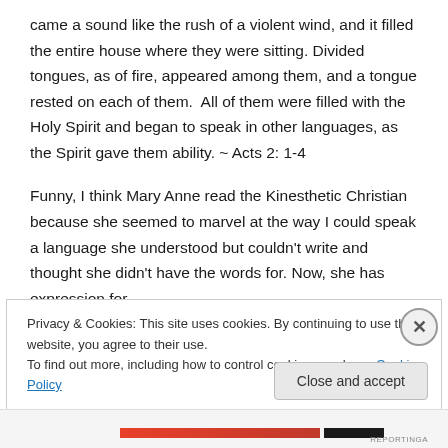came a sound like the rush of a violent wind, and it filled the entire house where they were sitting. Divided tongues, as of fire, appeared among them, and a tongue rested on each of them.  All of them were filled with the Holy Spirit and began to speak in other languages, as the Spirit gave them ability. ~ Acts 2: 1-4
Funny, I think Mary Anne read the Kinesthetic Christian because she seemed to marvel at the way I could speak a language she understood but couldn't write and thought she didn't have the words for. Now, she has expression for
Privacy & Cookies: This site uses cookies. By continuing to use this website, you agree to their use.
To find out more, including how to control cookies, see here: Cookie Policy